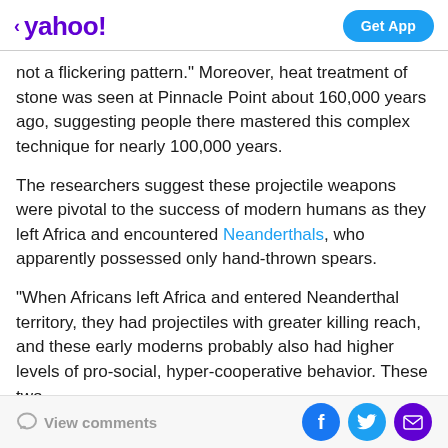< yahoo!  Get App
not a flickering pattern." Moreover, heat treatment of stone was seen at Pinnacle Point about 160,000 years ago, suggesting people there mastered this complex technique for nearly 100,000 years.
The researchers suggest these projectile weapons were pivotal to the success of modern humans as they left Africa and encountered Neanderthals, who apparently possessed only hand-thrown spears.
"When Africans left Africa and entered Neanderthal territory, they had projectiles with greater killing reach, and these early moderns probably also had higher levels of pro-social, hyper-cooperative behavior. These two
View comments